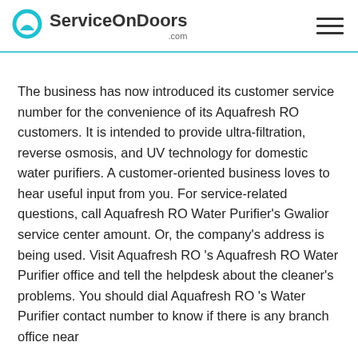ServiceOnDoors .com
The business has now introduced its customer service number for the convenience of its Aquafresh RO customers. It is intended to provide ultra-filtration, reverse osmosis, and UV technology for domestic water purifiers. A customer-oriented business loves to hear useful input from you. For service-related questions, call Aquafresh RO Water Purifier's Gwalior service center amount. Or, the company's address is being used. Visit Aquafresh RO 's Aquafresh RO Water Purifier office and tell the helpdesk about the cleaner's problems. You should dial Aquafresh RO 's Water Purifier contact number to know if there is any branch office near